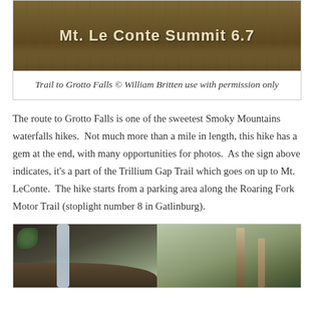[Figure (photo): Trail sign reading 'Mt. Le Conte Summit 6.7' on a brown wooden sign with autumn leaves in background]
Trail to Grotto Falls © William Britten use with permission only
The route to Grotto Falls is one of the sweetest Smoky Mountains waterfalls hikes.  Not much more than a mile in length, this hike has a gem at the end, with many opportunities for photos.  As the sign above indicates, it's a part of the Trillium Gap Trail which goes on up to Mt. LeConte.  The hike starts from a parking area along the Roaring Fork Motor Trail (stoplight number 8 in Gatlinburg).
[Figure (photo): Two-panel photo: left shows Grotto Falls waterfall with lush green foliage and rocky foreground; right shows bare winter trees in a forest setting]